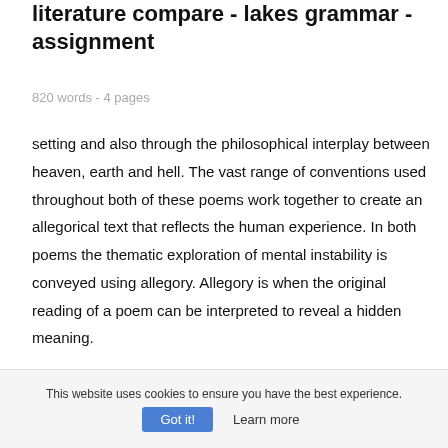literature compare - lakes grammar - assignment
820 words - 4 pages
setting and also through the philosophical interplay between heaven, earth and hell. The vast range of conventions used throughout both of these poems work together to create an allegorical text that reflects the human experience. In both poems the thematic exploration of mental instability is conveyed using allegory. Allegory is when the original reading of a poem can be interpreted to reveal a hidden meaning.
This website uses cookies to ensure you have the best experience. Got it! Learn more